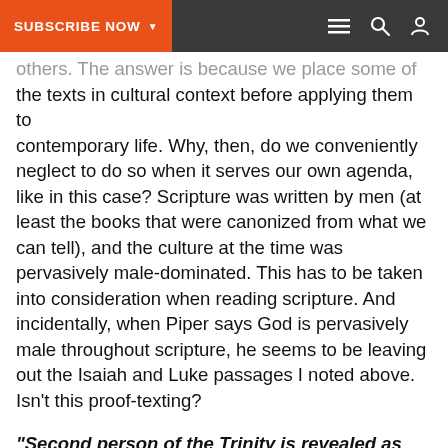SUBSCRIBE NOW ▼
others. The answer is because we place some of the texts in cultural context before applying them to contemporary life. Why, then, do we conveniently neglect to do so when it serves our own agenda, like in this case? Scripture was written by men (at least the books that were canonized from what we can tell), and the culture at the time was pervasively male-dominated. This has to be taken into consideration when reading scripture. And incidentally, when Piper says God is pervasively male throughout scripture, he seems to be leaving out the Isaiah and Luke passages I noted above. Isn't this proof-texting?
"Second person of the Trinity is revealed as the eternal Son and Son..."